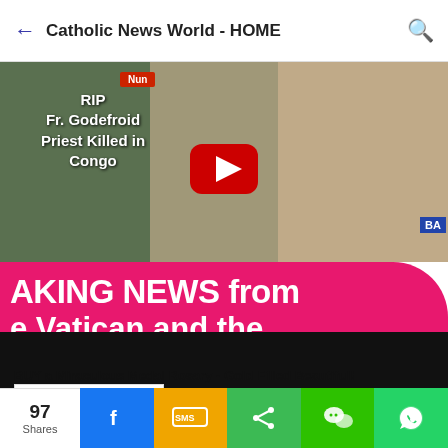Catholic News World - HOME
[Figure (screenshot): YouTube video thumbnail showing Catholic News World breaking news video. Left side shows text 'Nun' and 'RIP Fr. Godefroid Priest Killed in Congo' over dark background. Center shows a woman with blonde hair (news presenter). Right shows a smiling child. Center has a YouTube play button. Pink banner overlay reads 'AKING NEWS from e Vatican and the World'. Black bar at bottom.]
BUY a Miraculous Medal Rosary - Gold Filled Beautiful!
[Figure (logo): Amazon logo]
97 Shares
[Figure (infographic): Social share bar with Facebook, SMS, Share, WeChat, and WhatsApp buttons]